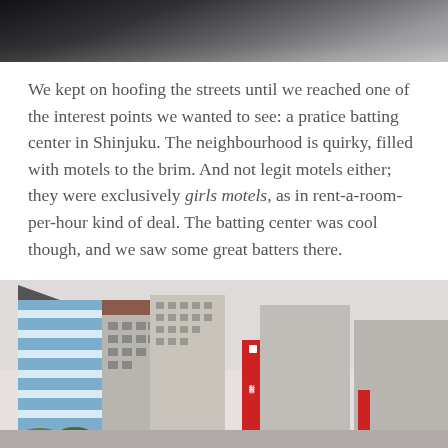[Figure (photo): Top portion of a photograph, showing dark background with partial view of a rounded object, likely a previous page photo cropped at top]
We kept on hoofing the streets until we reached one of the interest points we wanted to see: a pratice batting center in Shinjuku. The neighbourhood is quirky, filled with motels to the brim. And not legit motels either; they were exclusively girls motels, as in rent-a-room-per-hour kind of deal. The batting center was cool though, and we saw some great batters there.
[Figure (photo): Street-level view of Shinjuku buildings including a tall blue-and-white striped modern building on the left, mid-rise buildings in center, and a red vertical banner with Japanese text (Nomura Securities) in the middle, under an overcast sky]